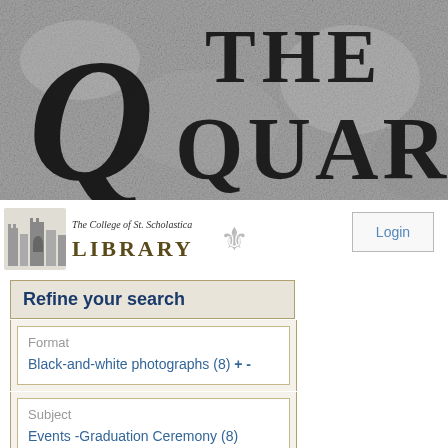[Figure (illustration): Stone/granite texture banner with large decorative Q letter and text 'THE QUARR' overlaid in bold serif font]
[Figure (logo): The College of St. Scholastica Library logo with castle illustration and shield]
Login
Refine your search
Format
Black-and-white photographs (8) + -
Subject
Events -Graduation Ceremony (8)